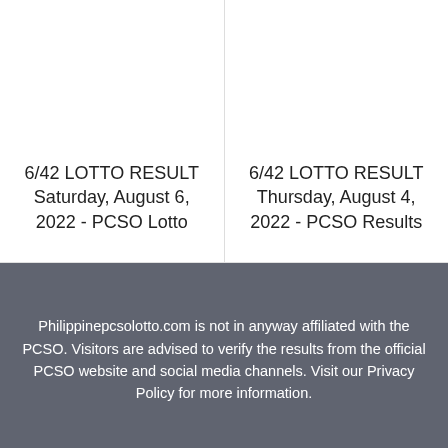6/42 LOTTO RESULT Saturday, August 6, 2022 - PCSO Lotto
6/42 LOTTO RESULT Thursday, August 4, 2022 - PCSO Results
Philippinepcsolotto.com is not in anyway affiliated with the PCSO. Visitors are advised to verify the results from the official PCSO website and social media channels. Visit our Privacy Policy for more information.